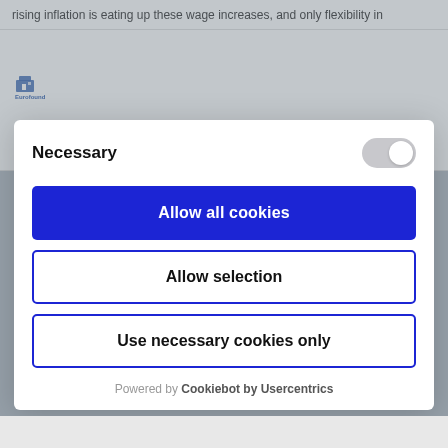rising inflation is eating up these wage increases, and only flexibility in
[Figure (logo): Eurofound logo - small blue building/house icon with text 'Eurofound' below]
This website uses cookies
We use cookies to gather information necessary for
Necessary
Allow all cookies
Allow selection
Use necessary cookies only
Powered by Cookiebot by Usercentrics